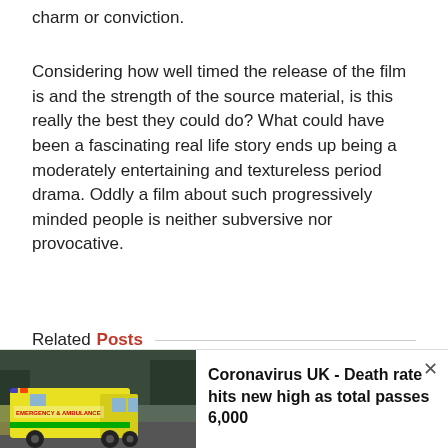charm or conviction.
Considering how well timed the release of the film is and the strength of the source material, is this really the best they could do? What could have been a fascinating real life story ends up being a moderately entertaining and textureless period drama. Oddly a film about such progressively minded people is neither subversive nor provocative.
Related Posts
Give Them Wings Premiers in Darlington
Final Thoughts on Cannes 2022
[Figure (photo): Yellow ambulance (emergency vehicle) driving on a road with trees in the background]
Coronavirus UK - Death rate hits new high as total passes 6,000